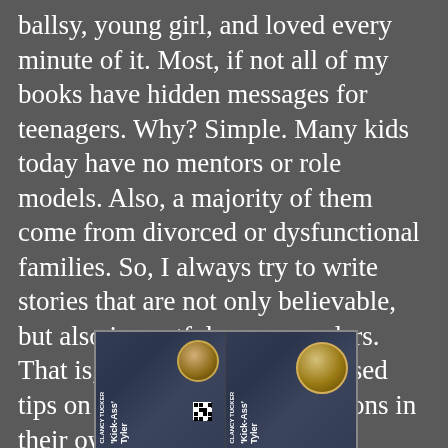ballsy, young girl, and loved every minute of it. Most, if not all of my books have hidden messages for teenagers. Why? Simple. Many kids today have no mentors or role models. Also, a majority of them come from divorced or dysfunctional families. So, I always try to write stories that are not only believable, but also impactful on my readers. That is, give them a few disguised tips on how to deal with situations in their own life. Hope it works.
[Figure (photo): Book cover for 'Kick-Ass Tyler' by Clancy Tucker, shown twice side by side. The cover features a denim background with a gold watch, vertical text with the book title and author name, and a QR code.]